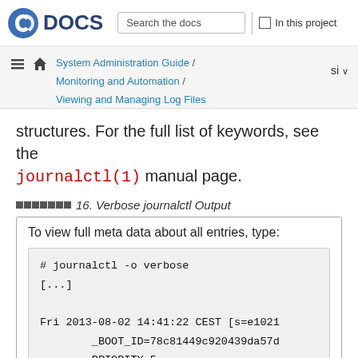Fedora DOCS — Search the docs — In this project
System Administration Guide / Monitoring and Automation / Viewing and Managing Log Files — si
structures. For the full list of keywords, see the journalctl(1) manual page.
例 16. Verbose journalctl Output
To view full meta data about all entries, type:
# journalctl -o verbose
[...]

Fri 2013-08-02 14:41:22 CEST [s=e1021...
        _BOOT_ID=78c81449c920439da57d...
        PRIORITY=5
        SYSLOG_FACILITY=3